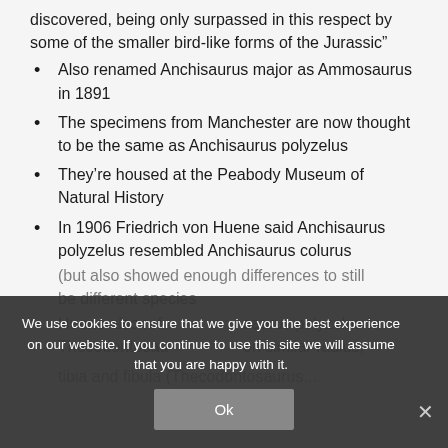discovered, being only surpassed in this respect by some of the smaller bird-like forms of the Jurassic”
Also renamed Anchisaurus major as Ammosaurus in 1891
The specimens from Manchester are now thought to be the same as Anchisaurus polyzelus
They’re housed at the Peabody Museum of Natural History
In 1906 Friedrich von Huene said Anchisaurus polyzelus resembled Anchisaurus colurus (but also showed enough differences to still be different species
Huene also referred Anchisaurus polyzelus to Thecodontosaurus based on similar radius, tibia and fibula (Thecodontosaurus...
We use cookies to ensure that we give you the best experience on our website. If you continue to use this site we will assume that you are happy with it.